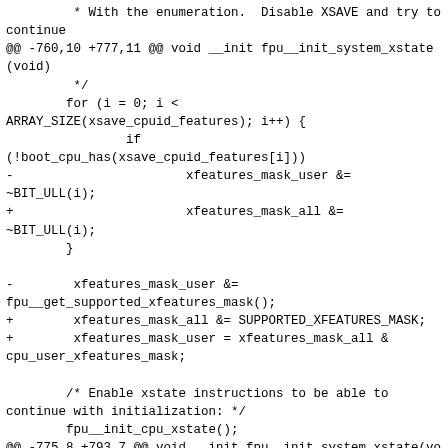* With the enumeration.  Disable XSAVE and try to continue
@@ -760,10 +777,11 @@ void __init fpu__init_system_xstate(void)
         */
        for (i = 0; i <
ARRAY_SIZE(xsave_cpuid_features); i++) {
                if
(!boot_cpu_has(xsave_cpuid_features[i]))
-                       xfeatures_mask_user &=
~BIT_ULL(i);
+                       xfeatures_mask_all &=
~BIT_ULL(i);
        }

-        xfeatures_mask_user &=
fpu__get_supported_xfeatures_mask();
+        xfeatures_mask_all &= SUPPORTED_XFEATURES_MASK;
+        xfeatures_mask_user = xfeatures_mask_all &
cpu_user_xfeatures_mask;

        /* Enable xstate instructions to be able to continue with initialization: */
        fpu__init_cpu_xstate();
@@ -775,8 +793,7 @@ void __init fpu__init_system_xstate(void)
        * Update info used for ptrace frames; use standard-format size and no
        * system xstates:
        */